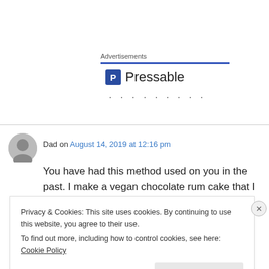Advertisements
[Figure (logo): Pressable logo with blue P icon and text 'Pressable' followed by dots]
Dad on August 14, 2019 at 12:16 pm
You have had this method used on you in the past. I make a vegan chocolate rum cake that I
Privacy & Cookies: This site uses cookies. By continuing to use this website, you agree to their use.
To find out more, including how to control cookies, see here: Cookie Policy